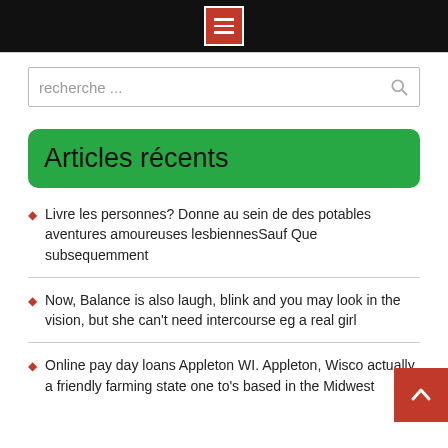≡ (menu icon)
recherche ...
Articles récents
Livre les personnes? Donne au sein de des potables aventures amoureuses lesbiennesSauf Que subsequemment
Now, Balance is also laugh, blink and you may look in the vision, but she can't need intercourse eg a real girl
Online pay day loans Appleton WI. Appleton, Wisco actually a friendly farming state one to's based in the Midwest